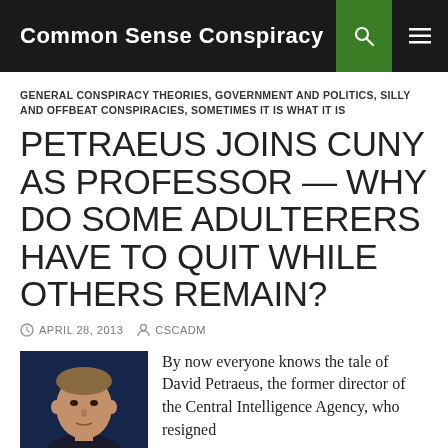Common Sense Conspiracy
GENERAL CONSPIRACY THEORIES, GOVERNMENT AND POLITICS, SILLY AND OFFBEAT CONSPIRACIES, SOMETIMES IT IS WHAT IT IS
PETRAEUS JOINS CUNY AS PROFESSOR — WHY DO SOME ADULTERERS HAVE TO QUIT WHILE OTHERS REMAIN?
APRIL 28, 2013  CSCADM
[Figure (photo): Headshot photo of David Petraeus against a dark blue background]
By now everyone knows the tale of David Petraeus, the former director of the Central Intelligence Agency, who resigned